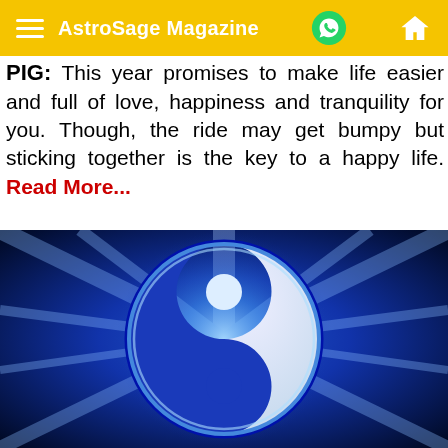AstroSage Magazine
PIG: This year promises to make life easier and full of love, happiness and tranquility for you. Though, the ride may get bumpy but sticking together is the key to a happy life. Read More...
[Figure (illustration): A glowing blue yin-yang symbol on a dark blue radiant background with light rays emanating from behind the circular symbol.]